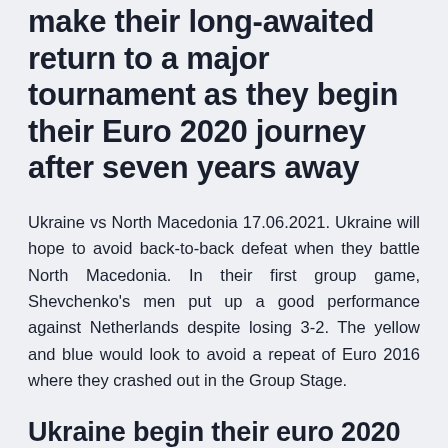make their long-awaited return to a major tournament as they begin their Euro 2020 journey after seven years away
Ukraine vs North Macedonia 17.06.2021. Ukraine will hope to avoid back-to-back defeat when they battle North Macedonia. In their first group game, Shevchenko's men put up a good performance against Netherlands despite losing 3-2. The yellow and blue would look to avoid a repeat of Euro 2016 where they crashed out in the Group Stage.
Ukraine begin their euro 2020 campaign against the netherlands in amsterdam on sunday, before meeting north macedonia